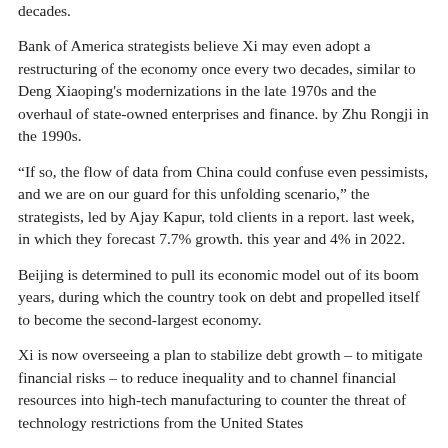decades.
Bank of America strategists believe Xi may even adopt a restructuring of the economy once every two decades, similar to Deng Xiaoping's modernizations in the late 1970s and the overhaul of state-owned enterprises and finance. by Zhu Rongji in the 1990s.
“If so, the flow of data from China could confuse even pessimists, and we are on our guard for this unfolding scenario,” the strategists, led by Ajay Kapur, told clients in a report. last week, in which they forecast 7.7% growth. this year and 4% in 2022.
Beijing is determined to pull its economic model out of its boom years, during which the country took on debt and propelled itself to become the second-largest economy.
Xi is now overseeing a plan to stabilize debt growth – to mitigate financial risks – to reduce inequality and to channel financial resources into high-tech manufacturing to counter the threat of technology restrictions from the United States
Data released last week already showed growth slowing sharply